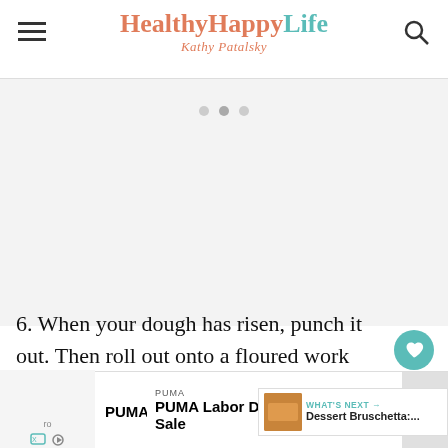HealthyHappyLife — Kathy Patalsky
[Figure (other): Large image area placeholder with three dots indicating a slideshow/carousel]
6. When your dough has risen, punch it out. Then roll out onto a floured work surface using a rolling pin. Use more flour for dusting.
[Figure (other): What's Next thumbnail: Dessert Bruschetta with teal arrow label]
[Figure (other): Bottom advertisement: PUMA Labor Day Sale — Shop Now button]